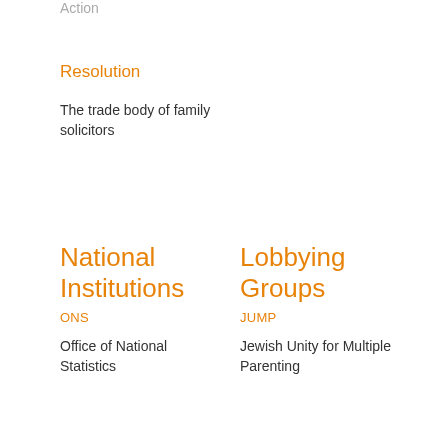Action
Resolution
The trade body of family solicitors
National Institutions
ONS
Office of National Statistics
Lobbying Groups
JUMP
Jewish Unity for Multiple Parenting